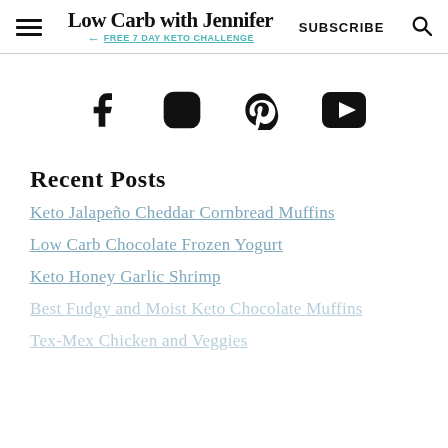Low Carb with Jennifer — FREE 7 DAY KETO CHALLENGE | SUBSCRIBE
[Figure (other): Social media icons: Facebook, Instagram, Pinterest, YouTube]
Recent Posts
Keto Jalapeño Cheddar Cornbread Muffins
Low Carb Chocolate Frozen Yogurt
Keto Honey Garlic Shrimp
Best Fudgy and Moist Keto Chocolate Muffins
Tex-Mex Chicken and Veggies